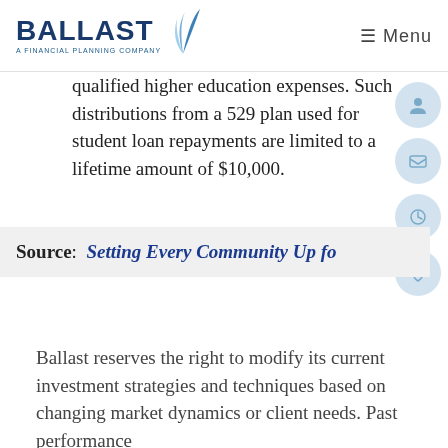BALLAST A FINANCIAL PLANNING COMPANY | Menu
qualified higher education expenses. Such distributions from a 529 plan used for student loan repayments are limited to a lifetime amount of $10,000.
Source:  Setting Every Community Up fo
Ballast reserves the right to modify its current investment strategies and techniques based on changing market dynamics or client needs. Past performance